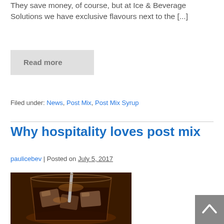They save money, of course, but at Ice & Beverage Solutions we have exclusive flavours next to the [...]
Read more
Filed under: News, Post Mix, Post Mix Syrup
Why hospitality loves post mix
paulicebev | Posted on July 5, 2017
[Figure (photo): A glass of cola with ice and a straw being poured into it]
Scroll to top button